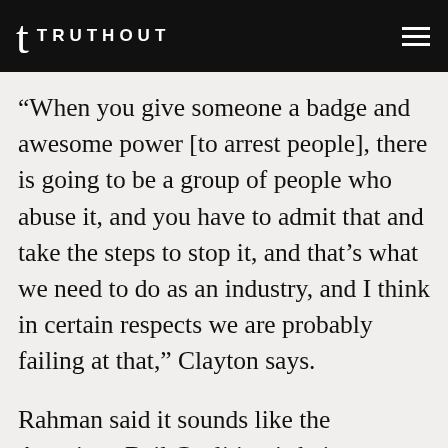TRUTHOUT
“When you give someone a badge and awesome power [to arrest people], there is going to be a group of people who abuse it, and you have to admit that and take the steps to stop it, and that’s what we need to do as an industry, and I think in certain respects we are probably failing at that,” Clayton says.
Rahman said it sounds like the American Bail Coalition is being “reasonable” because reforms are inevitable and the lucrative industry’s days are numbered. The number of people held in jail